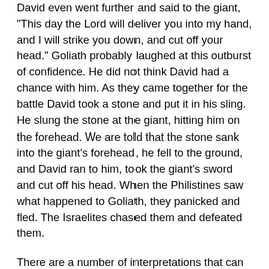David even went further and said to the giant, "This day the Lord will deliver you into my hand, and I will strike you down, and cut off your head." Goliath probably laughed at this outburst of confidence. He did not think David had a chance with him. As they came together for the battle David took a stone and put it in his sling. He slung the stone at the giant, hitting him on the forehead. We are told that the stone sank into the giant's forehead, he fell to the ground, and David ran to him, took the giant's sword and cut off his head. When the Philistines saw what happened to Goliath, they panicked and fled. The Israelites chased them and defeated them.
There are a number of interpretations that can be derived from this story, depending upon the level of consciousness and interest of the individual. A military commander would see that no compromise or advantage can be given to the enemy if he is to win the battle. Also he will see the necessity of courage and confidence in his troops if he is to attack the enemy and be successful.
On a higher level of interpretation we might say that a basic...